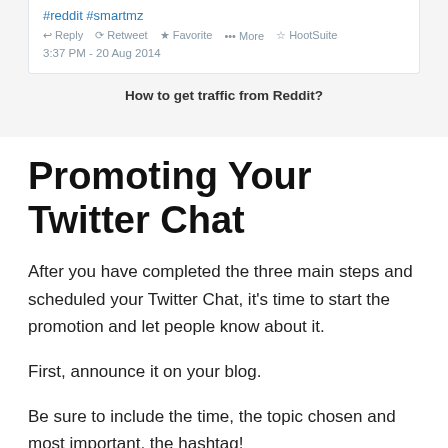[Figure (screenshot): Partial tweet card showing hashtags #reddit #smartmz, action buttons (Reply, Retweet, Favorite, More, HootSuite), and timestamp 3:37 PM - 20 Aug 2014]
How to get traffic from Reddit?
Promoting Your Twitter Chat
After you have completed the three main steps and scheduled your Twitter Chat, it's time to start the promotion and let people know about it.
First, announce it on your blog.
Be sure to include the time, the topic chosen and most important, the hashtag!